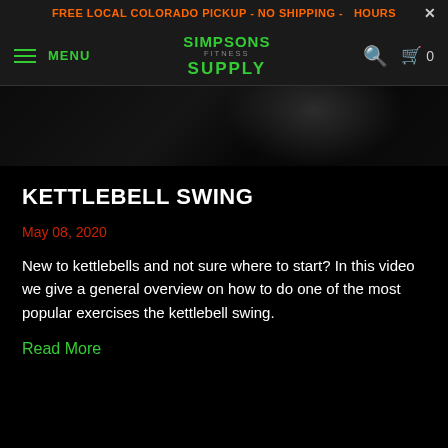FREE LOCAL COLORADO PICKUP - NO SHIPPING - HOURS
MENU | SIMPSONS FITNESS SUPPLY | Search | Cart 0
[Figure (photo): Dark background image showing kettlebells, partially visible]
KETTLEBELL SWING
May 08, 2020
New to kettlebells and not sure where to start? In this video we give a general overview on how to do one of the most popular exercises the kettlebell swing.
Read More